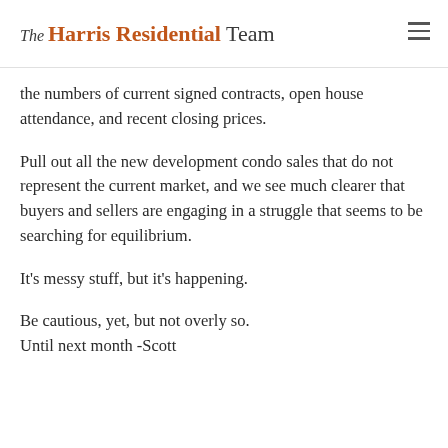The Harris Residential Team
the numbers of current signed contracts, open house attendance, and recent closing prices.
Pull out all the new development condo sales that do not represent the current market, and we see much clearer that buyers and sellers are engaging in a struggle that seems to be searching for equilibrium.
It’s messy stuff, but it’s happening.
Be cautious, yet, but not overly so.
Until next month -Scott